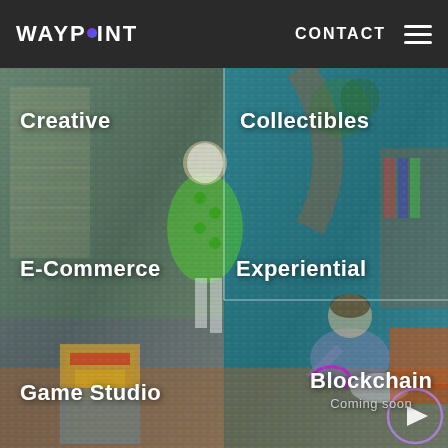[Figure (logo): Waypoint logo with stylized 'O' as colored circle in header]
CONTACT
[Figure (screenshot): Retro 1970s style living room scene with two people (woman in green dress with mask, man sitting on floor), overlaid with cyan/purple color grading and dot-matrix filter. Divided into 6 sections: Creative, Collectibles, E-Commerce, Experiential, Game Studio, Blockchain (Coming soon). A play button circle icon appears in lower right.]
Creative
Collectibles
E-Commerce
Experiential
Game Studio
Blockchain
Coming soon